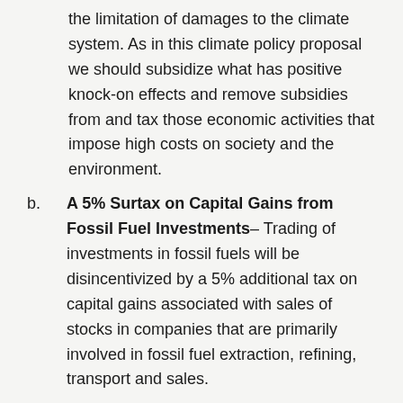the limitation of damages to the climate system. As in this climate policy proposal we should subsidize what has positive knock-on effects and remove subsidies from and tax those economic activities that impose high costs on society and the environment.
b. A 5% Surtax on Capital Gains from Fossil Fuel Investments– Trading of investments in fossil fuels will be disincentivized by a 5% additional tax on capital gains associated with sales of stocks in companies that are primarily involved in fossil fuel extraction, refining, transport and sales.
c. New Fossil Fuel Transport, Processing and Delivery Infrastructure Ban – In the United States and elsewhere, various parts of the fossil fuel industries are expanding their infrastructure